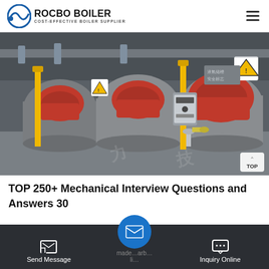ROCBO BOILER — COST-EFFECTIVE BOILER SUPPLIER
[Figure (photo): Industrial boiler room with multiple red-fronted gas boilers, yellow vertical pipes, control panels, and safety warning signs on the wall.]
TOP 250+ Mechanical Interview Questions and Answers 30
Send Message | Inquiry Online